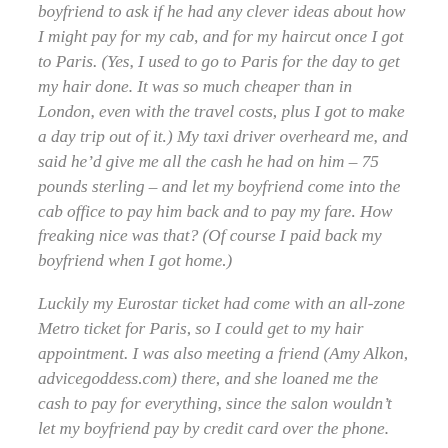boyfriend to ask if he had any clever ideas about how I might pay for my cab, and for my haircut once I got to Paris. (Yes, I used to go to Paris for the day to get my hair done. It was so much cheaper than in London, even with the travel costs, plus I got to make a day trip out of it.) My taxi driver overheard me, and said he'd give me all the cash he had on him – 75 pounds sterling – and let my boyfriend come into the cab office to pay him back and to pay my fare. How freaking nice was that? (Of course I paid back my boyfriend when I got home.)
Luckily my Eurostar ticket had come with an all-zone Metro ticket for Paris, so I could get to my hair appointment. I was also meeting a friend (Amy Alkon, advicegoddess.com) there, and she loaned me the cash to pay for everything, since the salon wouldn't let my boyfriend pay by credit card over the phone.